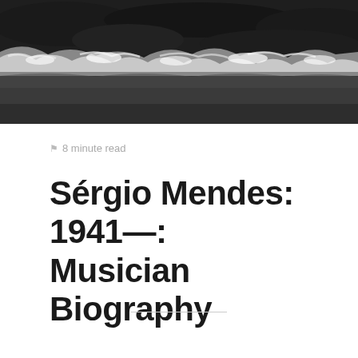[Figure (photo): Aerial/close-up photo of ocean waves crashing with dark rocks and white foam, black and white tones]
🔖 8 minute read
Sérgio Mendes: 1941—: Musician Biography